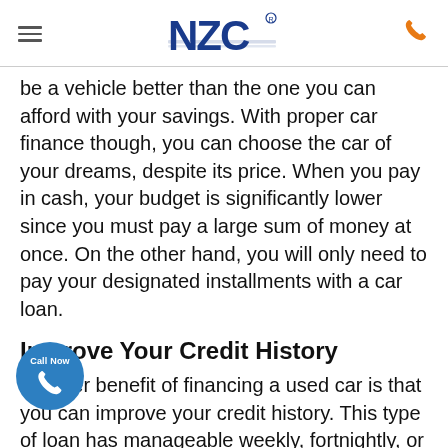NZC (logo) | hamburger menu | phone icon
be a vehicle better than the one you can afford with your savings. With proper car finance though, you can choose the car of your dreams, despite its price. When you pay in cash, your budget is significantly lower since you must pay a large sum of money at once. On the other hand, you will only need to pay your designated installments with a car loan.
Improve Your Credit History
Another benefit of financing a used car is that you can improve your credit history. This type of loan has manageable weekly, fortnightly, or monthly payments. If you